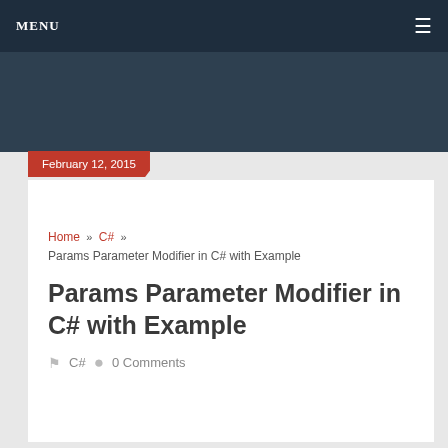MENU
February 12, 2015
Home » C# » Params Parameter Modifier in C# with Example
Params Parameter Modifier in C# with Example
C#   0 Comments